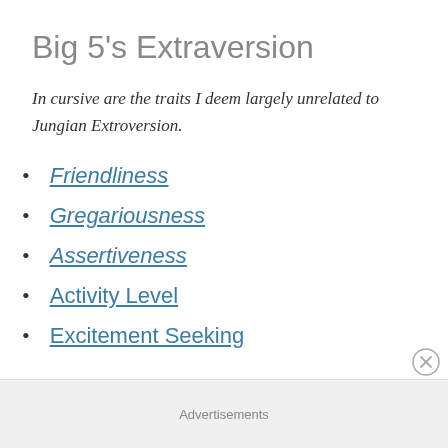Big 5's Extraversion
In cursive are the traits I deem largely unrelated to Jungian Extroversion.
Friendliness
Gregariousness
Assertiveness
Activity Level
Excitement Seeking
Advertisements